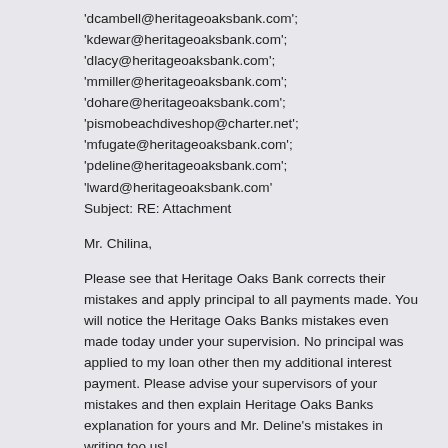'dcambell@heritageoaksbank.com'; 'kdewar@heritageoaksbank.com'; 'dlacy@heritageoaksbank.com'; 'mmiller@heritageoaksbank.com'; 'dohare@heritageoaksbank.com'; 'pismobeachdiveshop@charter.net'; 'mfugate@heritageoaksbank.com'; 'pdeline@heritageoaksbank.com'; 'lward@heritageoaksbank.com' Subject: RE: Attachment
Mr. Chilina,
Please see that Heritage Oaks Bank corrects their mistakes and apply principal to all payments made. You will notice the Heritage Oaks Banks mistakes even made today under your supervision. No principal was applied to my loan other then my additional interest payment. Please advise your supervisors of your mistakes and then explain Heritage Oaks Banks explanation for yours and Mr. Deline's mistakes in writing too us!
Please, again pay attention to the June 10, 2009 letter written by Heritage Oaks Bank Vice President Paul DeLine. This should fully resolve this particular conflict between us!
Sincerely
///////////